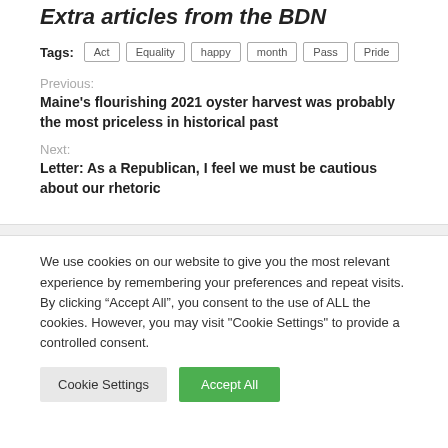Extra articles from the BDN
Tags: Act Equality happy month Pass Pride
Previous:
Maine's flourishing 2021 oyster harvest was probably the most priceless in historical past
Next:
Letter: As a Republican, I feel we must be cautious about our rhetoric
We use cookies on our website to give you the most relevant experience by remembering your preferences and repeat visits. By clicking “Accept All”, you consent to the use of ALL the cookies. However, you may visit "Cookie Settings" to provide a controlled consent.
Cookie Settings | Accept All